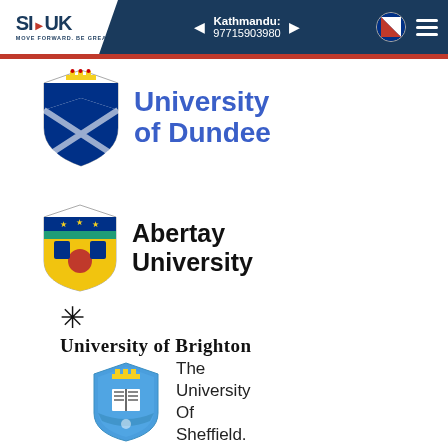SI-UK | MOVE FORWARD. BE GREAT. | Kathmandu: 97715903980
[Figure (logo): University of Dundee logo with blue shield crest and blue text reading University of Dundee]
[Figure (logo): Abertay University logo with colorful shield crest and bold black text reading Abertay University]
[Figure (logo): University of Brighton logo with black asterisk/star symbol and bold serif text reading University of Brighton]
[Figure (logo): The University of Sheffield logo with blue shield crest and text reading The University Of Sheffield.]